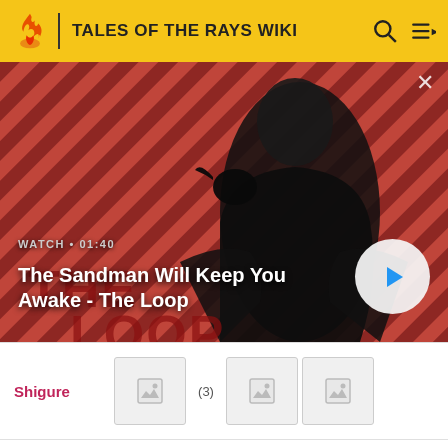TALES OF THE RAYS WIKI
[Figure (screenshot): Video banner showing a dark figure in a black coat with a raven on shoulder against a red diagonal striped background. Shows play button and video title 'The Sandman Will Keep You Awake - The Loop' with watch duration 01:40.]
Shigure (3)
Teresa (3)